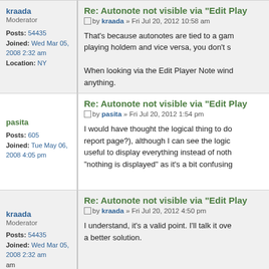Post 1 - kraada Moderator - Re: Autonote not visible via Edit Play - by kraada Fri Jul 20, 2012 10:58 am - That's because autonotes are tied to a game type. If you're playing holdem and vice versa, you don't s... When looking via the Edit Player Note windo... anything.
Post 2 - pasita - Re: Autonote not visible via Edit Play - by pasita Fri Jul 20, 2012 1:54 pm - I would have thought the logical thing to do... report page?), although I can see the logic... useful to display everything instead of noth... nothing is displayed as it's a bit confusing...
Post 3 - kraada Moderator - Re: Autonote not visible via Edit Play - by kraada Fri Jul 20, 2012 4:50 pm - I understand, it's a valid point. I'll talk it ove... a better solution.